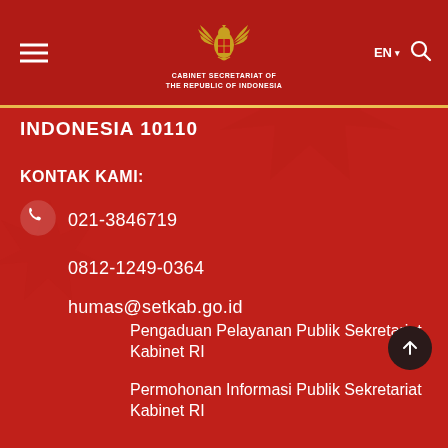CABINET SECRETARIAT OF THE REPUBLIC OF INDONESIA
INDONESIA 10110
KONTAK KAMI:
021-3846719
0812-1249-0364
humas@setkab.go.id
Pengaduan Pelayanan Publik Sekretariat Kabinet RI
Permohonan Informasi Publik Sekretariat Kabinet RI